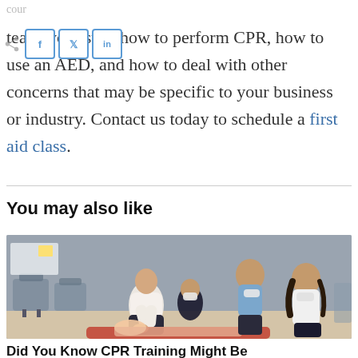teach your staff how to perform CPR, how to use an AED, and how to deal with other concerns that may be specific to your business or industry. Contact us today to schedule a first aid class.
You may also like
[Figure (photo): Group of people practicing CPR on a mannequin. One person kneeling performs chest compressions while three others wearing face masks observe and assist.]
Did You Know CPR Training Might Be